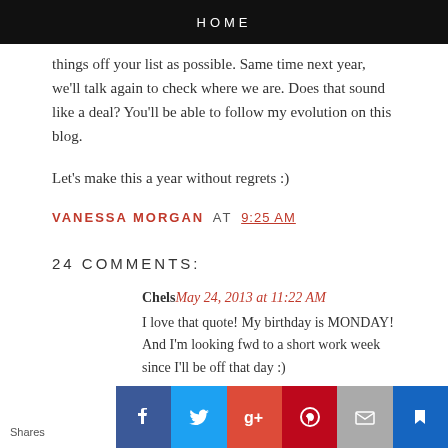HOME
things off your list as possible. Same time next year, we'll talk again to check where we are. Does that sound like a deal? You'll be able to follow my evolution on this blog.
Let's make this a year without regrets :)
VANESSA MORGAN AT 9:25 AM
24 COMMENTS:
Chels May 24, 2013 at 11:22 AM
I love that quote! My birthday is MONDAY! And I'm looking fwd to a short work week since I'll be off that day :)
Reply